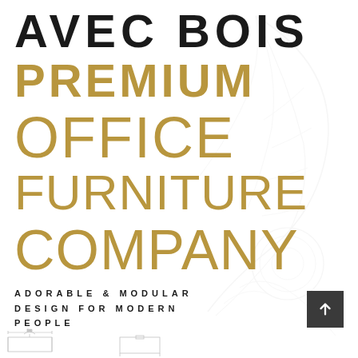AVEC BOIS
PREMIUM
OFFICE FURNITURE COMPANY
ADORABLE & MODULAR DESIGN FOR MODERN PEOPLE
[Figure (illustration): Faint watermark illustration of a decorative leaf/plant motif with engineering sketch lines in very light gray on the right side of the page background]
[Figure (illustration): Small engineering/technical furniture sketch at the bottom left corner of the page]